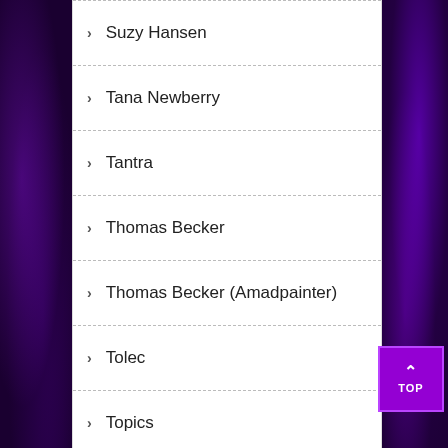Suzy Hansen
Tana Newberry
Tantra
Thomas Becker
Thomas Becker (Amadpainter)
Tolec
Topics
Torah Bontrager
UFO's